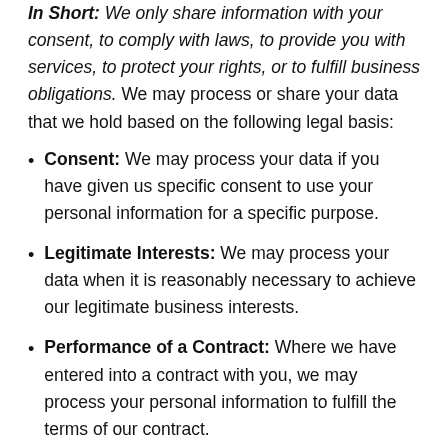In Short: We only share information with your consent, to comply with laws, to provide you with services, to protect your rights, or to fulfill business obligations. We may process or share your data that we hold based on the following legal basis:
Consent: We may process your data if you have given us specific consent to use your personal information for a specific purpose.
Legitimate Interests: We may process your data when it is reasonably necessary to achieve our legitimate business interests.
Performance of a Contract: Where we have entered into a contract with you, we may process your personal information to fulfill the terms of our contract.
Legal Obligations: We may disclose your information where we are legally required to do